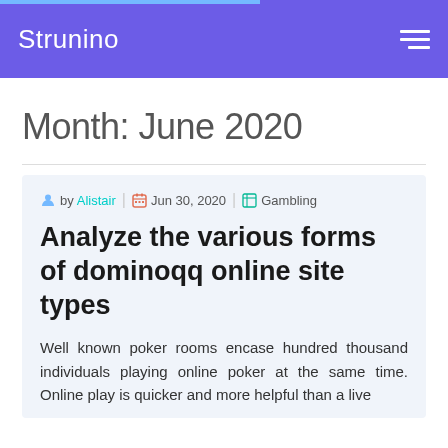Strunino
Month: June 2020
by Alistair | Jun 30, 2020 | Gambling
Analyze the various forms of dominoqq online site types
Well known poker rooms encase hundred thousand individuals playing online poker at the same time. Online play is quicker and more helpful than a live